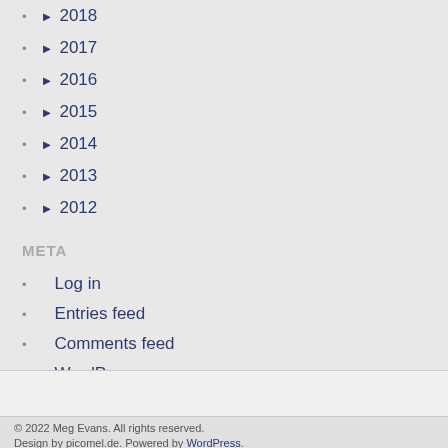► 2018
► 2017
► 2016
► 2015
► 2014
► 2013
► 2012
META
Log in
Entries feed
Comments feed
WordPress.org
© 2022 Meg Evans. All rights reserved.
Design by picomel.de. Powered by WordPress.